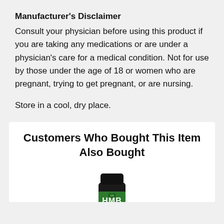Manufacturer's Disclaimer
Consult your physician before using this product if you are taking any medications or are under a physician's care for a medical condition. Not for use by those under the age of 18 or women who are pregnant, trying to get pregnant, or are nursing.
Store in a cool, dry place.
Customers Who Bought This Item Also Bought
[Figure (photo): HMB supplement bottle (Optimum Nutrition HMB 1000 Caps) with black cap and green label]